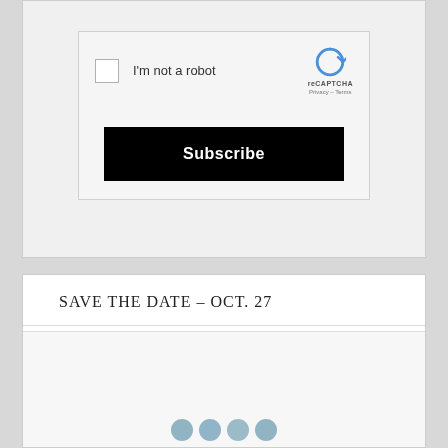[Figure (screenshot): reCAPTCHA widget with checkbox labeled 'I'm not a robot', reCAPTCHA logo and Privacy/Terms links on the right]
Subscribe
SAVE THE DATE – OCT. 27
[Figure (screenshot): Bottom section with social media icons (circular, blue-gray) partially visible at bottom]